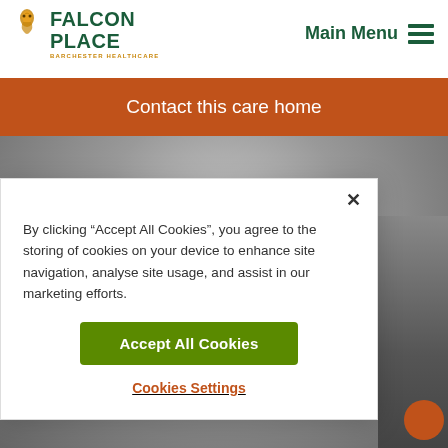[Figure (logo): Falcon Place Barchester Healthcare logo with green text and orange bird icon]
Main Menu
Contact this care home
[Figure (photo): Grayscale background photo strip]
By clicking “Accept All Cookies”, you agree to the storing of cookies on your device to enhance site navigation, analyse site usage, and assist in our marketing efforts.
Accept All Cookies
Cookies Settings